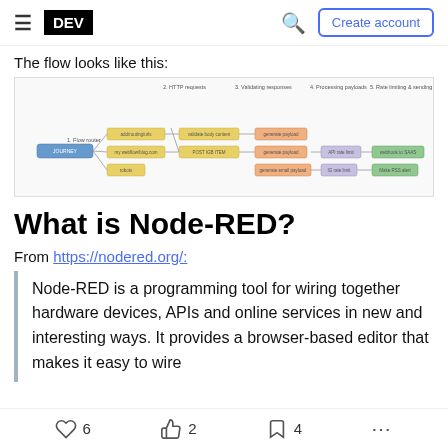DEV | Create account
The flow looks like this:
[Figure (flowchart): Node-RED flow diagram showing HTTP requests, validating responses, processing payloads, and sending messages through connected nodes]
What is Node-RED?
From https://nodered.org/:
Node-RED is a programming tool for wiring together hardware devices, APIs and online services in new and interesting ways. It provides a browser-based editor that makes it easy to wire
6  2  4  ...